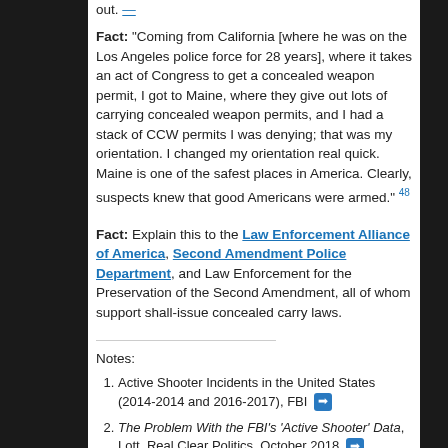out. [link]
Fact: "Coming from California [where he was on the Los Angeles police force for 28 years], where it takes an act of Congress to get a concealed weapon permit, I got to Maine, where they give out lots of carrying concealed weapon permits, and I had a stack of CCW permits I was denying; that was my orientation. I changed my orientation real quick. Maine is one of the safest places in America. Clearly, suspects knew that good Americans were armed." 48
Fact: Explain this to the Law Enforcement Alliance of America, Second Amendment Police Department, and Law Enforcement for the Preservation of the Second Amendment, all of whom support shall-issue concealed carry laws.
Notes:
Active Shooter Incidents in the United States (2014-2014 and 2016-2017), FBI [link]
The Problem With the FBI's 'Active Shooter' Data, Lott, Real Clear Politics, October 2018 [link]